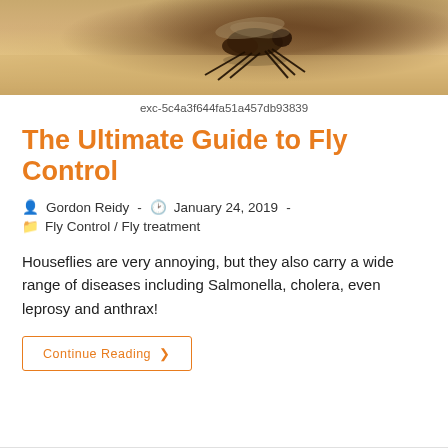[Figure (photo): Close-up macro photo of a fly on a sandy/dusty surface, showing the fly's body and legs in detail]
exc-5c4a3f644fa51a457db93839
The Ultimate Guide to Fly Control
Gordon Reidy  -  January 24, 2019  -
Fly Control / Fly treatment
Houseflies are very annoying, but they also carry a wide range of diseases including Salmonella, cholera, even leprosy and anthrax!
Continue Reading ›